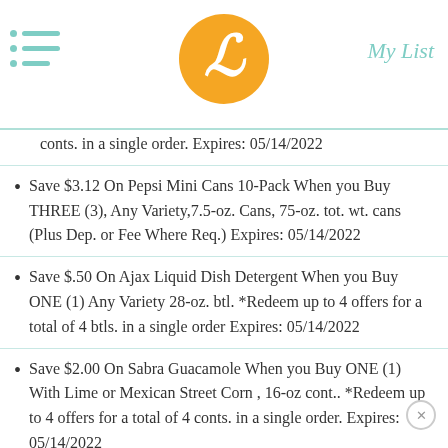My List
conts. in a single order. Expires: 05/14/2022
Save $3.12 On Pepsi Mini Cans 10-Pack When you Buy THREE (3), Any Variety,7.5-oz. Cans, 75-oz. tot. wt. cans (Plus Dep. or Fee Where Req.) Expires: 05/14/2022
Save $.50 On Ajax Liquid Dish Detergent When you Buy ONE (1) Any Variety 28-oz. btl. *Redeem up to 4 offers for a total of 4 btls. in a single order Expires: 05/14/2022
Save $2.00 On Sabra Guacamole When you Buy ONE (1) With Lime or Mexican Street Corn , 16-oz cont.. *Redeem up to 4 offers for a total of 4 conts. in a single order. Expires: 05/14/2022
Save $3.00 On Coke 2-Liter When you Buy FOUR (4) Coke 2-Liter, Any Variety, Sprite, Fanta or Coke Btl. or Dr. Pepper or Seagram's (Plus Dep. or Fee Where Req.) Expires: 05/14/2022